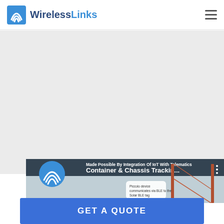WirelessLinks
[Figure (screenshot): Video thumbnail showing 'Container & Chassis Trackin...' with text 'Made Possible By Integration Of IoT With Telematics' and a Piccolo device communicates via BLE to the Solar BLE tag overlay]
GET A QUOTE